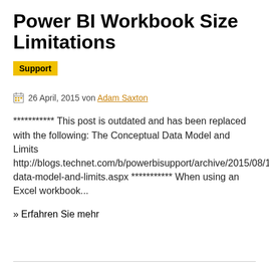Power BI Workbook Size Limitations
Support
26 April, 2015 von Adam Saxton
*********** This post is outdated and has been replaced with the following: The Conceptual Data Model and Limits http://blogs.technet.com/b/powerbisupport/archive/2015/08/1conceptual-data-model-and-limits.aspx *********** When using an Excel workbook...
» Erfahren Sie mehr